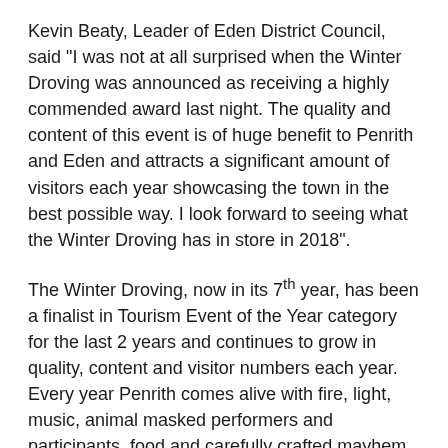Kevin Beaty, Leader of Eden District Council, said "I was not at all surprised when the Winter Droving was announced as receiving a highly commended award last night. The quality and content of this event is of huge benefit to Penrith and Eden and attracts a significant amount of visitors each year showcasing the town in the best possible way. I look forward to seeing what the Winter Droving has in store in 2018".
The Winter Droving, now in its 7th year, has been a finalist in Tourism Event of the Year category for the last 2 years and continues to grow in quality, content and visitor numbers each year. Every year Penrith comes alive with fire, light, music, animal masked performers and participants, food and carefully crafted mayhem. The Winter Droving is a celebration of agricultural heritage and carnival and is embedded in the local imagination.
This year the Winter Droving will be taking place on Saturday 27th October in Penrith and will expand into Middlegate with the exciting addition of the Crafty Vintage market bringing